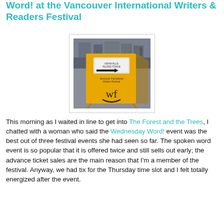Word! at the Vancouver International Writers & Readers Festival
[Figure (photo): Outdoor photograph of a yellow A-frame sandwich board sign for the Vancouver International Writers Festival, showing 'Granville Island Stage' with an arrow, the festival name, and a decorative 'wf' logo with a smile. Street and buildings visible in background.]
This morning as I waited in line to get into The Forest and the Trees, I chatted with a woman who said the Wednesday Word! event was the best out of three festival events she had seen so far. The spoken word event is so popular that it is offered twice and still sells out early; the advance ticket sales are the main reason that I'm a member of the festival. Anyway, we had tix for the Thursday time slot and I felt totally energized after the event.